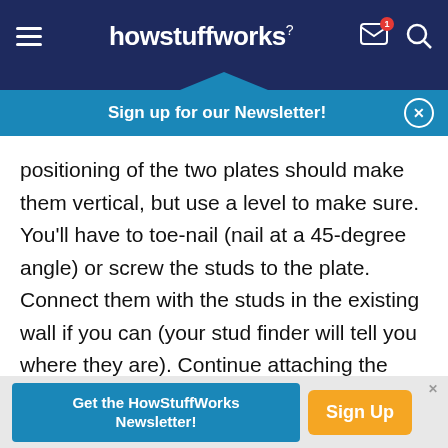howstuffworks
Sign up for our Newsletter!
positioning of the two plates should make them vertical, but use a level to make sure. You'll have to toe-nail (nail at a 45-degree angle) or screw the studs to the plate. Connect them with the studs in the existing wall if you can (your stud finder will tell you where they are). Continue attaching the rest of the studs in the same way. Metal stud-framing clips, which let you nail straight into both stud and plate, are an alternative to toe-nailing [source: Holmes].
Get the HowStuffWorks Newsletter! Sign Up